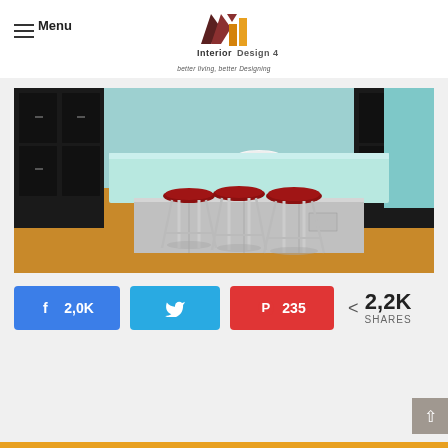Menu — Interior Design 4 — better living, better Designing
[Figure (photo): Kitchen island with light blue/teal glass top, stainless steel base, surrounded by retro chrome bar stools with red vinyl seats, dark wood cabinets in background, hardwood floor]
2,0K  [Facebook share button]  [Twitter share button]  235 [Pinterest share button]  < 2,2K SHARES